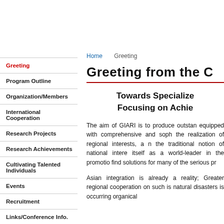Greeting
Program Outline
Organization/Members
International Cooperation
Research Projects
Research Achievements
Cultivating Talented Individuals
Events
Recruitment
Links/Conference Info.
Home   Greeting
Greeting from the C
Towards Specialized... Focusing on Achie...
The aim of GIARI is to produce outstan equipped with comprehensive and soph the realization of regional interests, a n the traditional notion of national intere itself as a world-leader in the promotio find solutions for many of the serious pr
Asian integration is already a reality; Greater regional cooperation on such is natural disasters is occurring organical